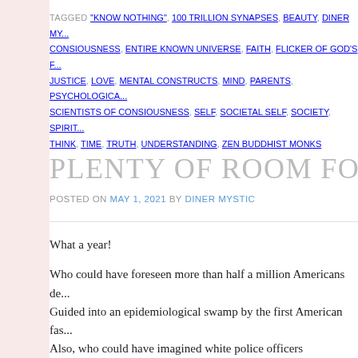TAGGED "KNOW NOTHING", 100 TRILLION SYNAPSES, BEAUTY, DINER MY... CONSIOUSNESS, ENTIRE KNOWN UNIVERSE, FAITH, FLICKER OF GOD'S F... JUSTICE, LOVE, MENTAL CONSTRUCTS, MIND, PARENTS, PSYCHOLOGICA... SCIENTISTS OF CONSIOUSNESS, SELF, SOCIETAL SELF, SOCIETY, SPIRIT... THINK, TIME, TRUTH, UNDERSTANDING, ZEN BUDDHIST MONKS
PLENTY OF ROOM FOR ONE ANC...
POSTED ON MAY 1, 2021 BY DINER MYSTIC
What a year!
Who could have foreseen more than half a million Americans de... Guided into an epidemiological swamp by the first American fas... Also, who could have imagined white police officers Snuffing out innocent black folk like mosquitoes on the porch.